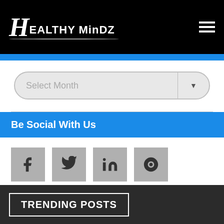Healthy MinDZ
[Figure (screenshot): Select Month dropdown with arrow]
Be Social With Us
[Figure (infographic): Social media icons: Facebook, Twitter, LinkedIn, Skype]
TRENDING POSTS